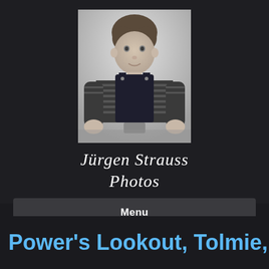[Figure (photo): Black and white portrait photo of a young toddler boy wearing striped shirt and dark overalls, holding something small in his hands, studio portrait style]
Jürgen Strauss Photos
Menu
Power's Lookout, Tolmie,